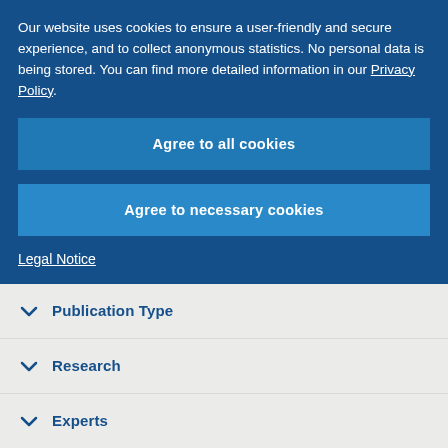Our website uses cookies to ensure a user-friendly and secure experience, and to collect anonymous statistics. No personal data is being stored. You can find more detailed information in our Privacy Policy.
Agree to all cookies
Agree to necessary cookies
Legal Notice
Publication Type
Research
Experts
Date